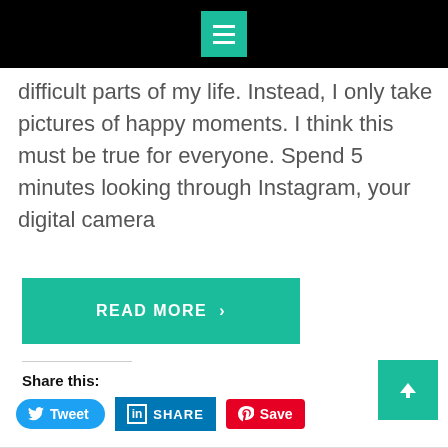difficult parts of my life. Instead, I only take pictures of happy moments. I think this must be true for everyone. Spend 5 minutes looking through Instagram, your digital camera
READ MORE >
Share this:
[Figure (screenshot): Social share buttons: Tweet (Twitter), SHARE (LinkedIn), Save (Pinterest)]
Like this:
[Figure (screenshot): WordPress Like button widget with star icon]
Be the first to like this.